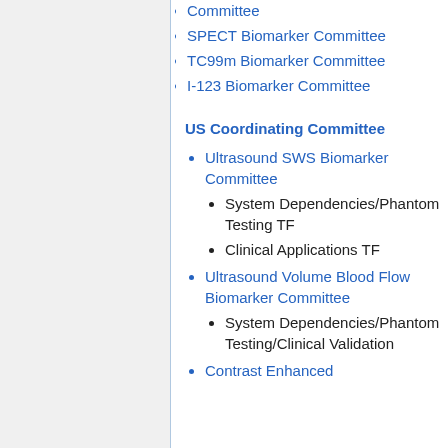Committee
SPECT Biomarker Committee
TC99m Biomarker Committee
I-123 Biomarker Committee
US Coordinating Committee
Ultrasound SWS Biomarker Committee
System Dependencies/Phantom Testing TF
Clinical Applications TF
Ultrasound Volume Blood Flow Biomarker Committee
System Dependencies/Phantom Testing/Clinical Validation
Contrast Enhanced